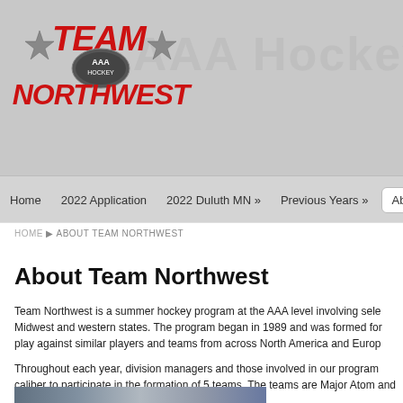[Figure (logo): Team Northwest AAA Hockey logo with red stylized text 'TEAM' and 'NORTHWEST', silver stars, and AAA Hockey emblem in center]
Home   2022 Application   2022 Duluth MN »   Previous Years »   About
HOME ▶ ABOUT TEAM NORTHWEST
About Team Northwest
Team Northwest is a summer hockey program at the AAA level involving sele Midwest and western states. The program began in 1989 and was formed for play against similar players and teams from across North America and Europ Throughout each year, division managers and those involved in our program caliber to participate in the formation of 5 teams. The teams are Major Atom and Minor & Major Bantam.
[Figure (photo): Partial photo of hockey players or team at bottom of page]